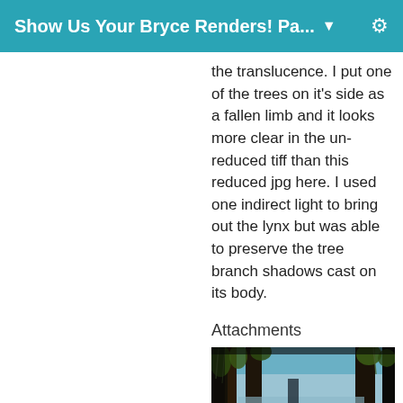Show Us Your Bryce Renders! Pa...
the translucence. I put one of the trees on it's side as a fallen limb and it looks more clear in the un-reduced tiff than this reduced jpg here. I used one indirect light to bring out the lynx but was able to preserve the tree branch shadows cast on its body.
Attachments
[Figure (photo): A 3D Bryce render showing a dark lynx-like animal standing among tall trees in a misty forest with a reflective water or fog background and green foliage.]